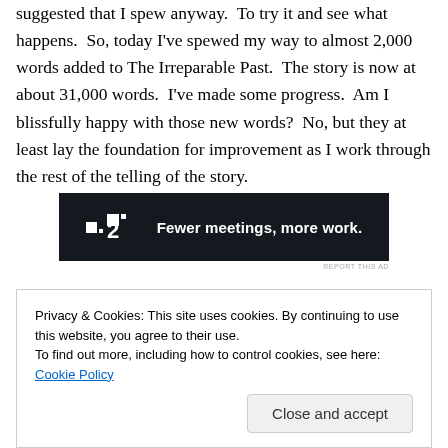suggested that I spew anyway.  To try it and see what happens.  So, today I've spewed my way to almost 2,000 words added to The Irreparable Past.  The story is now at about 31,000 words.  I've made some progress.  Am I blissfully happy with those new words?  No, but they at least lay the foundation for improvement as I work through the rest of the telling of the story.
[Figure (other): Advertisement banner for Planview (P2 logo) with dark background and text 'Fewer meetings, more work.']
Privacy & Cookies: This site uses cookies. By continuing to use this website, you agree to their use.
To find out more, including how to control cookies, see here: Cookie Policy